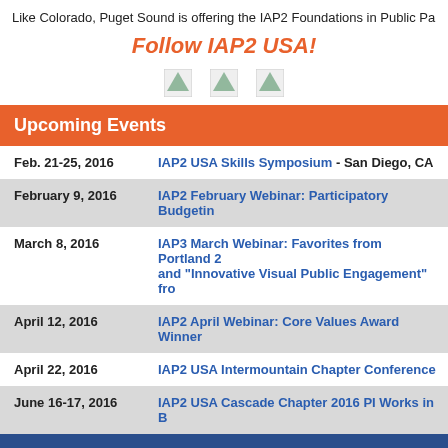Like Colorado, Puget Sound is offering the IAP2 Foundations in Public Pa
Follow IAP2 USA!
[Figure (other): Three social media icon images in a row]
Upcoming Events
| Date | Event |
| --- | --- |
| Feb. 21-25, 2016 | IAP2 USA Skills Symposium - San Diego, CA |
| February 9, 2016 | IAP2 February Webinar: Participatory Budgetin |
| March 8, 2016 | IAP3 March Webinar: Favorites from Portland 2 and "Innovative Visual Public Engagement" fro |
| April 12, 2016 | IAP2 April Webinar: Core Values Award Winner |
| April 22, 2016 | IAP2 USA Intermountain Chapter Conference |
| June 16-17, 2016 | IAP2 USA Cascade Chapter 2016 PI Works in B |
| September 28-30 | 2016 IAP2 North American Conference, Montre |